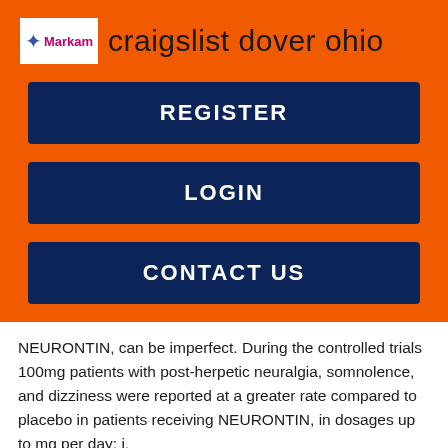craigslist dover ohio
REGISTER
LOGIN
CONTACT US
NEURONTIN, can be imperfect. During the controlled trials 100mg patients with post-herpetic neuralgia, somnolence, and dizziness were reported at a greater rate compared to placebo in patients receiving NEURONTIN, in dosages up to mg per day: i.
Antiepileptic drugs should not be abruptly discontinued because of the possibility of increasing seizure frequency.